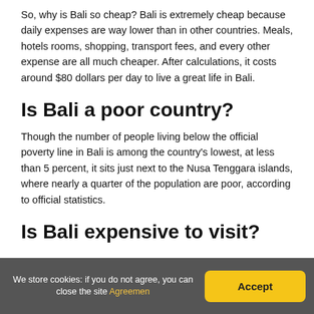So, why is Bali so cheap? Bali is extremely cheap because daily expenses are way lower than in other countries. Meals, hotels rooms, shopping, transport fees, and every other expense are all much cheaper. After calculations, it costs around $80 dollars per day to live a great life in Bali.
Is Bali a poor country?
Though the number of people living below the official poverty line in Bali is among the country's lowest, at less than 5 percent, it sits just next to the Nusa Tenggara islands, where nearly a quarter of the population are poor, according to official statistics.
Is Bali expensive to visit?
We store cookies: if you do not agree, you can close the site Agreemen